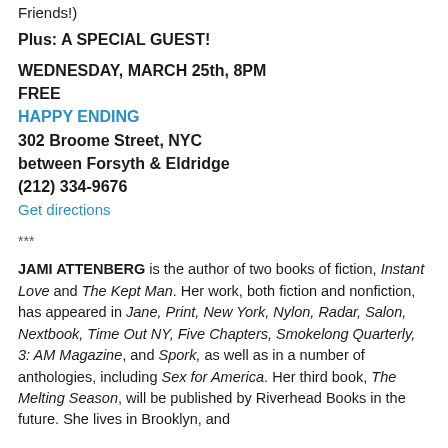Friends!)
Plus: A SPECIAL GUEST!
WEDNESDAY, MARCH 25th, 8PM
FREE
HAPPY ENDING
302 Broome Street, NYC
between Forsyth & Eldridge
(212) 334-9676
Get directions
***
JAMI ATTENBERG is the author of two books of fiction, Instant Love and The Kept Man. Her work, both fiction and nonfiction, has appeared in Jane, Print, New York, Nylon, Radar, Salon, Nextbook, Time Out NY, Five Chapters, Smokelong Quarterly, 3: AM Magazine, and Spork, as well as in a number of anthologies, including Sex for America. Her third book, The Melting Season, will be published by Riverhead Books in the future. She lives in Brooklyn, and